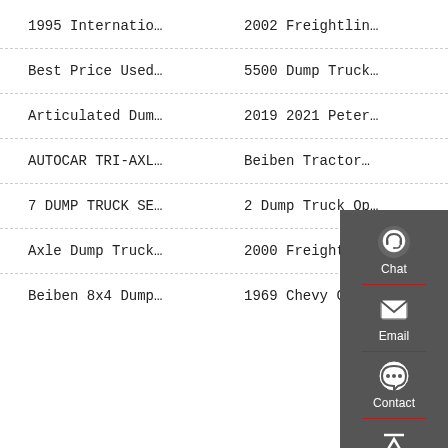1995 Internatio…	2002 Freightlin…
Best Price Used…	5500 Dump Truck…
Articulated Dum…	2019 2021 Peter…
AUTOCAR TRI-AXL…	Beiben Tractor…
7 DUMP TRUCK SE…	2 Dump Truck Op…
Axle Dump Truck…	2000 Freightlin…
Beiben 8x4 Dump…	1969 Chevy C60 …